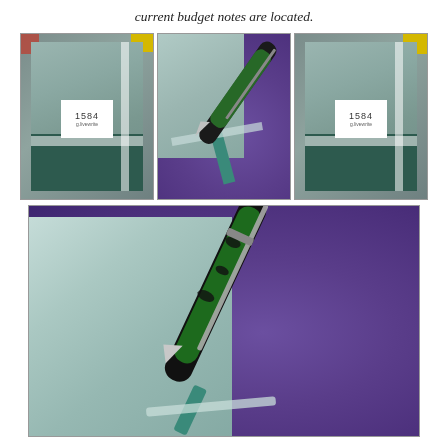current budget notes are located.
[Figure (photo): Three photos in a row showing notebooks with '1584' label and elastic band closure, with a pen, on purple background]
[Figure (photo): Large close-up photo of a pen resting on a light green/grey notebook cover on purple textured background]